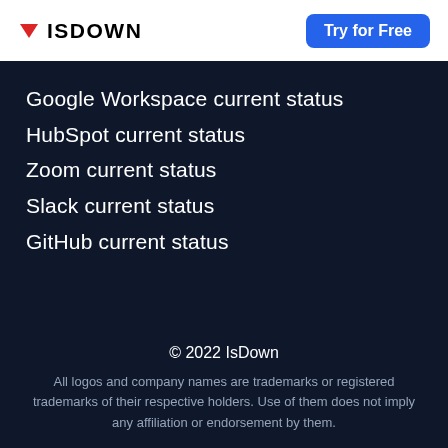ISDOWN | Try for Free
Google Workspace current status
HubSpot current status
Zoom current status
Slack current status
GitHub current status
© 2022 IsDown
All logos and company names are trademarks or registered trademarks of their respective holders. Use of them does not imply any affiliation or endorsement by them.